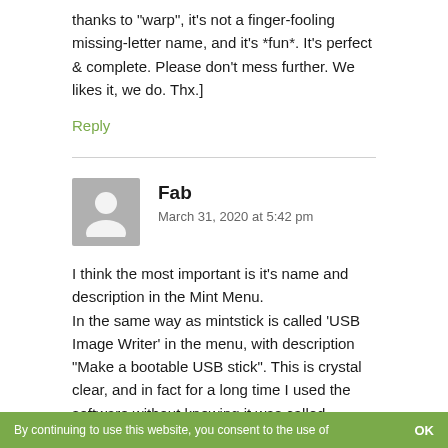thanks to "warp", it's not a finger-fooling missing-letter name, and it's *fun*. It's perfect & complete. Please don't mess further. We likes it, we do. Thx.]
Reply
Fab
March 31, 2020 at 5:42 pm
I think the most important is it's name and description in the Mint Menu.
In the same way as mintstick is called ‘USB Image Writer’ in the menu, with description “Make a bootable USB stick”. This is crystal clear, and in fact for a long time I used the software without knowing it was called mintstick.
By continuing to use this website, you consent to the use of   OK